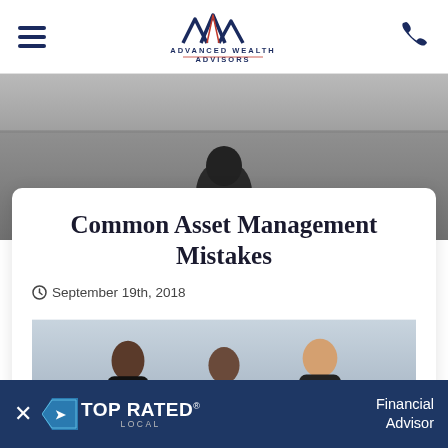[Figure (logo): Advanced Wealth Advisors logo with triple-A peak design in navy and red, centered in navigation bar]
[Figure (photo): Grayscale hero image of person seen from behind looking at water/horizon]
Common Asset Management Mistakes
September 19th, 2018
[Figure (photo): Three people (two women and one man) looking down at documents, with banner overlay reading COMMON INVESTING MISTAKES]
[Figure (logo): Top Rated Local badge with arrow icon and text: TOP RATED with registered mark, LOCAL below, and Financial Advisor text to the right]